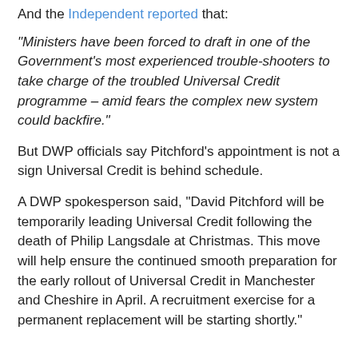And the Independent reported that:
“Ministers have been forced to draft in one of the Government’s most experienced trouble-shooters to take charge of the troubled Universal Credit programme – amid fears the complex new system could backfire.”
But DWP officials say Pitchford’s appointment is not a sign Universal Credit is behind schedule.
A DWP spokesperson said, “David Pitchford will be temporarily leading Universal Credit following the death of Philip Langsdale at Christmas. This move will help ensure the continued smooth preparation for the early rollout of Universal Credit in Manchester and Cheshire in April. A recruitment exercise for a permanent replacement will be starting shortly.”